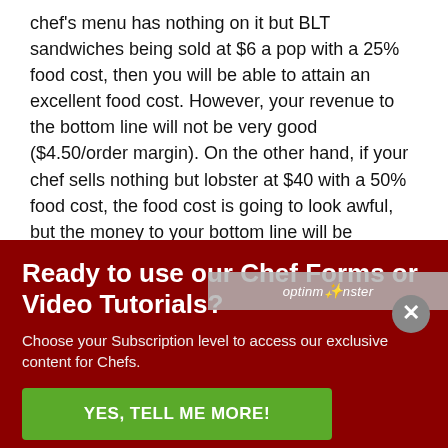chef's menu has nothing on it but BLT sandwiches being sold at $6 a pop with a 25% food cost, then you will be able to attain an excellent food cost.  However, your revenue to the bottom line will not be very good ($4.50/order margin).  On the other hand, if your chef sells nothing but lobster at $40 with a 50% food cost, the food cost is going to look awful, but the money to your bottom line will be significant ($20/order margin).
I would suggest using a food cost based bonus program for restaurants that have a legitimate food cost problem.  And I would suggest using a bonus program based upon EBITDA for restaurants which have a healthy operation and a
[Figure (other): OptinMonster overlay bar with logo text and a close (X) button]
Ready to use our Chef Forms or Video Tutorials?
Choose your Subscription level to access our exclusive content for Chefs.
YES, TELL ME MORE!